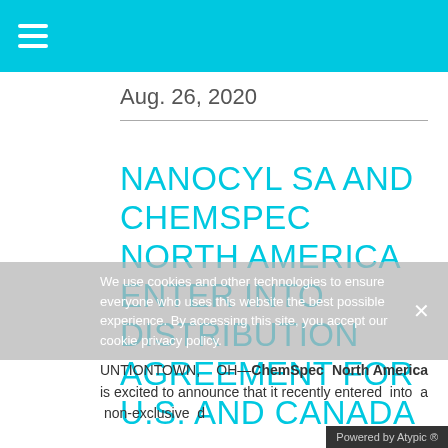Aug. 26, 2020
NANOCYL SA AND CHEMSPEC NORTH AMERICA ENTER INTO DISTRIBUTION AGREEMENT FOR U.S. AND CANADA
We use cookies and other technologies to ensure everyone who uses this website the best possible experience. By accessing this site, you accept our cookie privacy policy.
UNTIONTOWN, OH—ChemSpec North America is excited to announce that it recently entered into a non-exclusive d